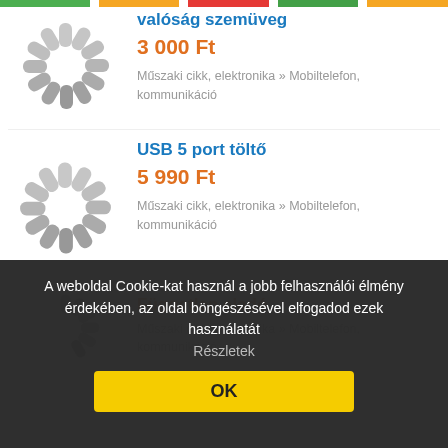valóság szemüveg
3 000 Ft
Műszaki cikk, elektronika » Mobiltelefon, kommunikáció
USB 5 port töltő
5 990 Ft
Műszaki cikk, elektronika » Mobiltelefon, kommunikáció
Független eladó
Műszaki cikk, elektronika » Mobiltelefon, kommunikáció
A weboldal Cookie-kat használ a jobb felhasználói élmény érdekében, az oldal böngészésével elfogadod ezek használatát
Részletek
OK